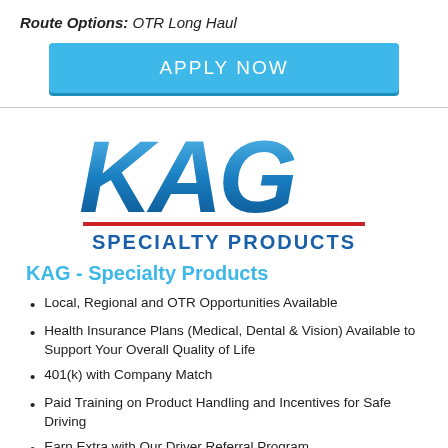Route Options: OTR Long Haul
APPLY NOW
[Figure (logo): KAG Specialty Products logo with large blue KAG letters and red underline]
KAG - Specialty Products
Local, Regional and OTR Opportunities Available
Health Insurance Plans (Medical, Dental & Vision) Available to Support Your Overall Quality of Life
401(k) with Company Match
Paid Training on Product Handling and Incentives for Safe Driving
Earn Extra with Our Driver Referral Program